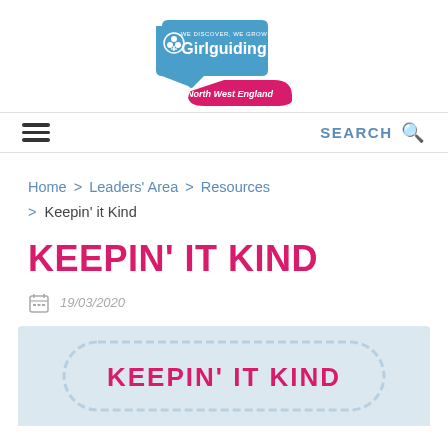[Figure (logo): Girlguiding North West England logo — blue badge shape with trefoil icon and text 'WE DISCOVER, WE GROW Girlguiding North West England' with pink accent]
SEARCH
Home > Leaders' Area > Resources > Keepin' it Kind
KEEPIN' IT KIND
19/03/2020
[Figure (illustration): Light blue banner image with rounded pill/capsule border outline and text 'KEEPIN' IT KIND' in pink bold letters]